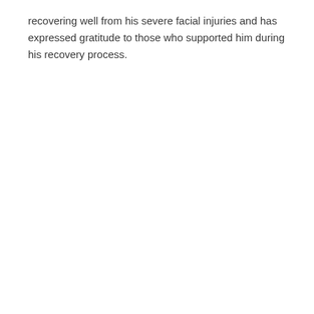recovering well from his severe facial injuries and has expressed gratitude to those who supported him during his recovery process.